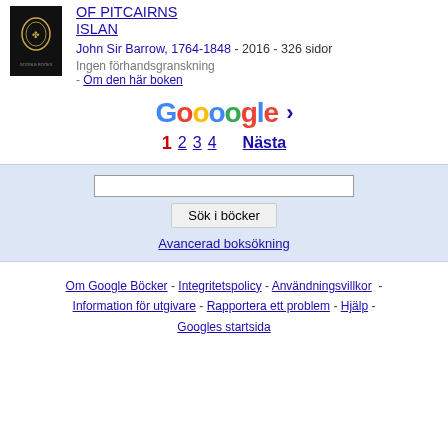[Figure (photo): Book cover – dark/black cover with a laurel wreath emblem]
OF PITCAIRNS ISLAN
John Sir Barrow, 1764-1848 - 2016 - 326 sidor
Ingen förhandsgranskning
- Om den här boken
[Figure (logo): Google pagination logo: Goooogle with right arrow]
1 2 3 4    Nästa
Sök i böcker
Avancerad boksökning
Om Google Böcker - Integritetspolicy - Användningsvillkor - Information för utgivare - Rapportera ett problem - Hjälp - Googles startsida